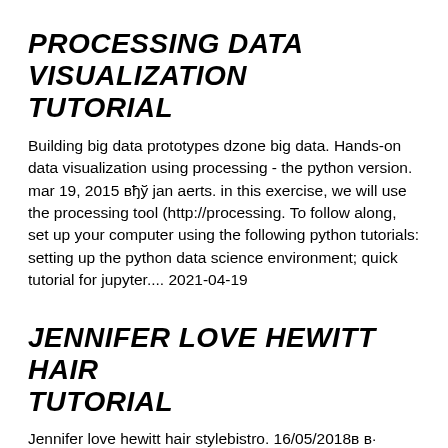PROCESSING DATA VISUALIZATION TUTORIAL
Building big data prototypes dzone big data. Hands-on data visualization using processing - the python version. mar 19, 2015 вђў jan aerts. in this exercise, we will use the processing tool (http://processing. To follow along, set up your computer using the following python tutorials: setting up the python data science environment; quick tutorial for jupyter.... 2021-04-19
JENNIFER LOVE HEWITT HAIR TUTORIAL
Jennifer love hewitt hair stylebistro. 16/05/2018в в· jennifer love hewitt apologizes for вђwrecked,вђ™ вђhot not wearing enough hairspray and teasing in my hair? olivia jado...